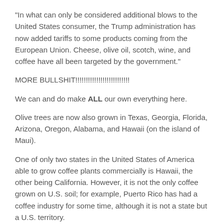“In what can only be considered additional blows to the United States consumer, the Trump administration has now added tariffs to some products coming from the European Union. Cheese, olive oil, scotch, wine, and coffee have all been targeted by the government.”
MORE BULLSHIT!!!!!!!!!!!!!!!!!!!!!!!!!
We can and do make ALL our own everything here.
Olive trees are now also grown in Texas, Georgia, Florida, Arizona, Oregon, Alabama, and Hawaii (on the island of Maui).
One of only two states in the United States of America able to grow coffee plants commercially is Hawaii, the other being California. However, it is not the only coffee grown on U.S. soil; for example, Puerto Rico has had a coffee industry for some time, although it is not a state but a U.S. territory.